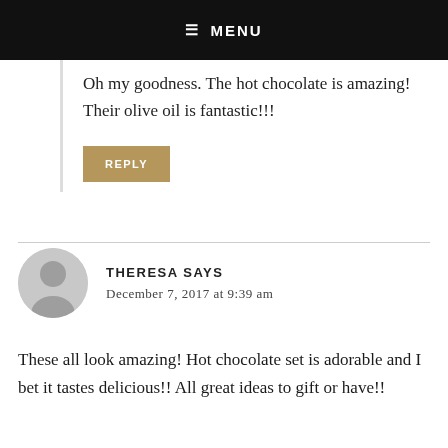MENU
Oh my goodness. The hot chocolate is amazing! Their olive oil is fantastic!!!
REPLY
THERESA SAYS
December 7, 2017 at 9:39 am
These all look amazing! Hot chocolate set is adorable and I bet it tastes delicious!! All great ideas to gift or have!!